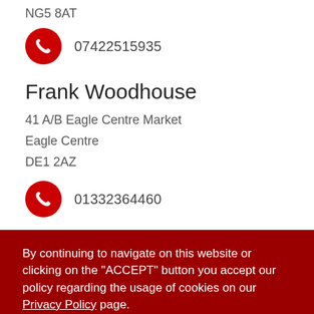NG5 8AT
07422515935
Frank Woodhouse
41 A/B Eagle Centre Market
Eagle Centre
DE1 2AZ
01332364460
By continuing to navigate on this website or clicking on the "ACCEPT" button you accept our policy regarding the usage of cookies on our Privacy Policy page.
ACCEPT ALL